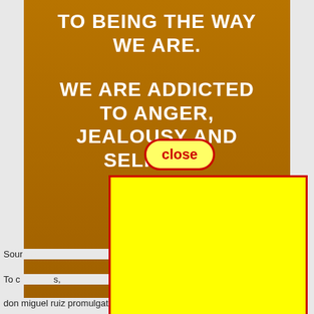[Figure (illustration): Orange/brown background image with white bold uppercase text reading 'TO BEING THE WAY WE ARE. WE ARE ADDICTED TO ANGER, JEALOUSY AND SELF-PITY' with a 'close' button overlay (yellow pill with red border and red text) and a large yellow rectangle advertisement overlay (yellow background, red border).]
Sour[ce text partially covered]
To c[ontinue text partially covered]s,
don miguel ruiz promulgates the four agreements